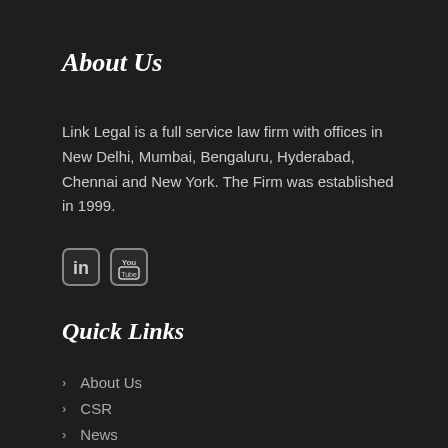About Us
Link Legal is a full service law firm with offices in New Delhi, Mumbai, Bengaluru, Hyderabad, Chennai and New York. The Firm was established in 1999.
[Figure (logo): LinkedIn and YouTube social media icons (rounded square icons)]
Quick Links
About Us
CSR
News
Disclaimer